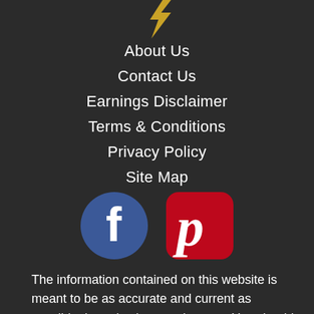[Figure (logo): Gold/yellow lightning bolt or arrow logo partially visible at top center]
About Us
Contact Us
Earnings Disclaimer
Terms & Conditions
Privacy Policy
Site Map
[Figure (logo): Facebook round blue icon and Pinterest red rounded square icon side by side]
The information contained on this website is meant to be as accurate and current as possible, but mistakes can happen. You should always visit company's